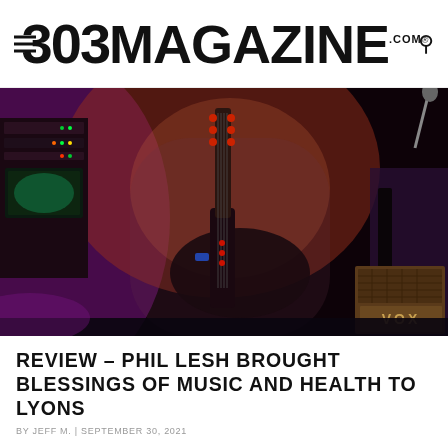303 MAGAZINE .COM
[Figure (photo): Concert photo of Phil Lesh playing an electric bass guitar on stage, with stage lighting in purple and red hues, VOX amplifier visible in the lower right, audio equipment on the left side of the stage.]
REVIEW – PHIL LESH BROUGHT BLESSINGS OF MUSIC AND HEALTH TO LYONS
BY JEFF M. | SEPTEMBER 30, 2021